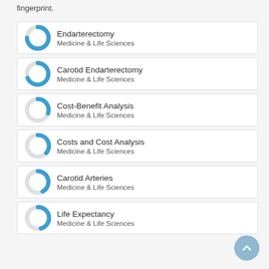fingerprint.
Endarterectomy — Medicine & Life Sciences
Carotid Endarterectomy — Medicine & Life Sciences
Cost-Benefit Analysis — Medicine & Life Sciences
Costs and Cost Analysis — Medicine & Life Sciences
Carotid Arteries — Medicine & Life Sciences
Life Expectancy — Medicine & Life Sciences